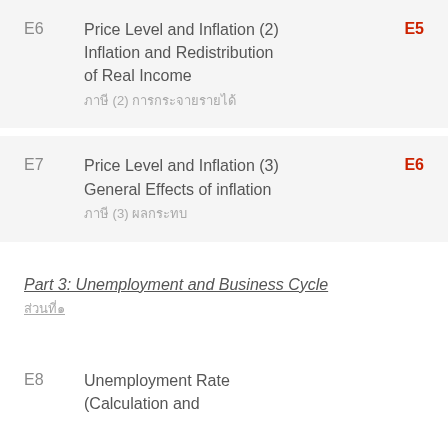E6  Price Level and Inflation (2) Inflation and Redistribution of Real Income  [Thai text]  E5
E7  Price Level and Inflation (3) General Effects of inflation  [Thai text]  E6
Part 3: Unemployment and Business Cycle  [Thai text]
E8  Unemployment Rate (Calculation and ...)